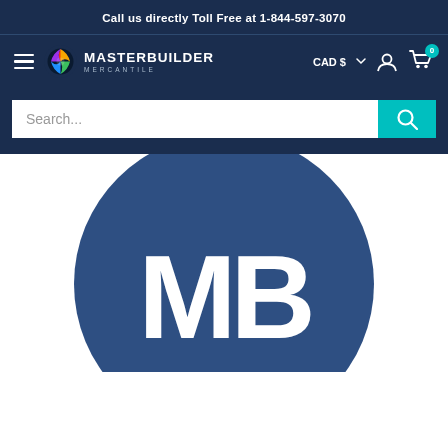Call us directly Toll Free at 1-844-597-3070
[Figure (logo): Masterbuilder Mercantile navigation bar with hamburger menu, logo with colorful sphere icon, MASTERBUILDER MERCANTILE text, CAD $ currency selector, user account icon, and cart icon with badge showing 0]
[Figure (screenshot): Search bar with placeholder text 'Search...' and a teal search button with magnifying glass icon]
[Figure (logo): Masterbuilder Mercantile large circular logo with dark blue circle and white MB letters on white background, cropped at bottom]